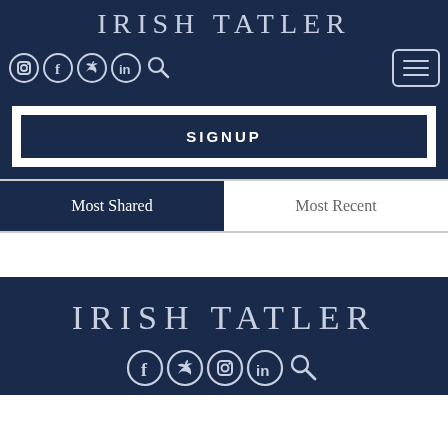IRISH TATLER
[Figure (infographic): Social media icons: Instagram, Facebook, Twitter, LinkedIn, Search, and hamburger menu button]
SIGNUP
Most Shared | Most Recent
IRISH TATLER
[Figure (infographic): Footer social media icons: Facebook, Twitter, Instagram, LinkedIn, Search]